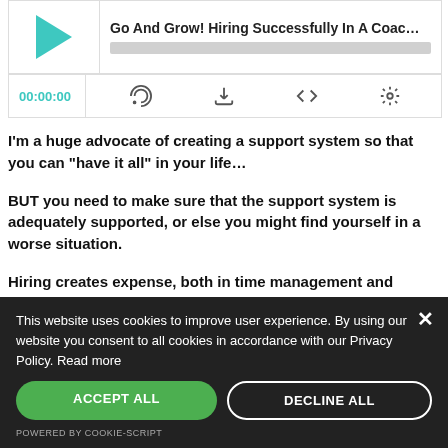[Figure (screenshot): Podcast player widget showing play button, title 'Go And Grow! Hiring Successfully In A Coac...', progress bar, time display 00:00:00, and control icons for RSS, download, embed, and settings.]
I'm a huge advocate of creating a support system so that you can “have it all” in your life…
BUT you need to make sure that the support system is adequately supported, or else you might find yourself in a worse situation.
Hiring creates expense, both in time management and
This website uses cookies to improve user experience. By using our website you consent to all cookies in accordance with our Privacy Policy. Read more
ACCEPT ALL
DECLINE ALL
POWERED BY COOKIE-SCRIPT